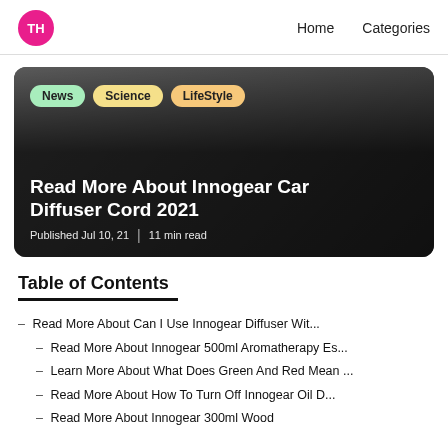TH | Home | Categories
[Figure (photo): Hero image of two people examining a device, with category tags (News, Science, LifeStyle) overlaid, and article title 'Read More About Innogear Car Diffuser Cord 2021', published Jul 10, 21, 11 min read]
Table of Contents
– Read More About Can I Use Innogear Diffuser Wit...
– Read More About Innogear 500ml Aromatherapy Es...
– Learn More About What Does Green And Red Mean ...
– Read More About How To Turn Off Innogear Oil D...
– Read More About Innogear 300ml Wood